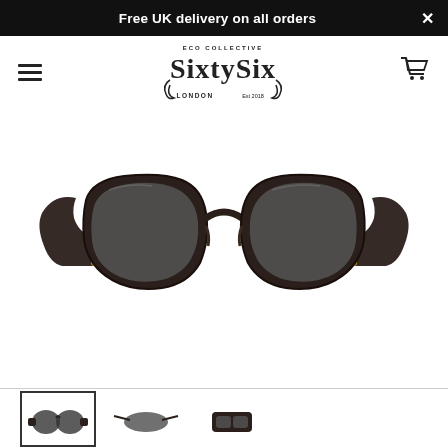Free UK delivery on all orders
[Figure (logo): SixtySix Eco Collective London Est 2018 brand logo]
[Figure (photo): Dark brown/black rounded square frame sunglasses with dark grey lenses, front-facing product photo on white background]
[Figure (photo): Three product thumbnail images at the bottom: first thumbnail selected with border, second and third showing side/alternate views of the same sunglasses]